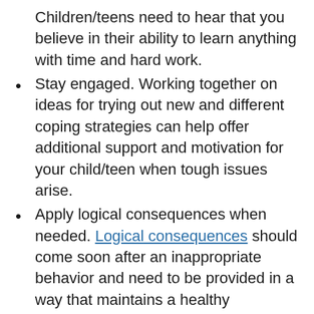Children/teens need to hear that you believe in their ability to learn anything with time and hard work.
Stay engaged. Working together on ideas for trying out new and different coping strategies can help offer additional support and motivation for your child/teen when tough issues arise.
Apply logical consequences when needed. Logical consequences should come soon after an inappropriate behavior and need to be provided in a way that maintains a healthy relationship. Rather than punishment, a consequence is about supporting